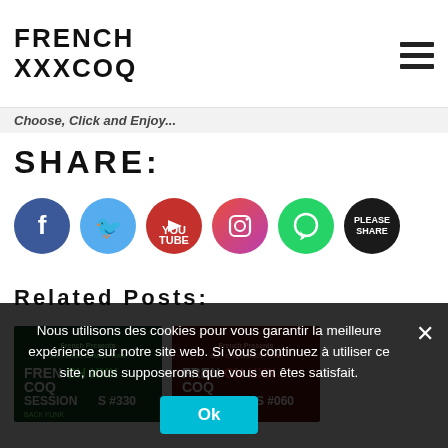FRENCH XXXCOQ
Choose, Click and Enjoy...
SHARE:
[Figure (illustration): Six social media share icons: Facebook (blue circle with f), Twitter (light blue circle with bird), YouTube (red circle with play button), Instagram (red-orange circle with camera), WhatsApp (green circle with phone), Please Share (dark circle with text)]
Related Posts:
[Figure (photo): Thumbnail image for French XXXCoq Sessions #330 - green background with DJ graphics and text FRENCH XXXCoQ SESSIONS #330 BACK FUNK]
[Figure (photo): Thumbnail image for French XXXCoq Sessions #060 - red background with DJ graphics and text FRENCH XXXCoQ SESSIONS #060 CLASSIC TOUCH]
Nous utilisons des cookies pour vous garantir la meilleure expérience sur notre site web. Si vous continuez à utiliser ce site, nous supposerons que vous en êtes satisfait.
Ok